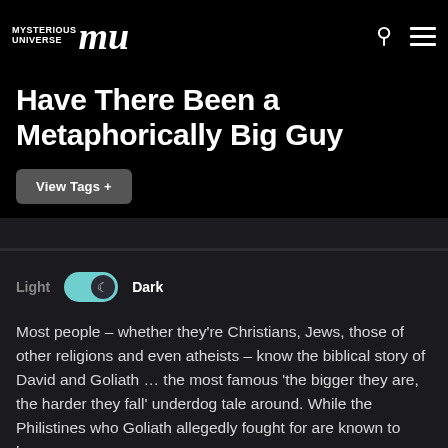Mysterious Universe | MU — Have There Been a Metaphorically Big Guy
Have There Been a Metaphorically Big Guy
View Tags +
Light  Dark
Most people – whether they're Christians, Jews, those of other religions and even atheists – know the biblical story of David and Goliath … the most famous 'the bigger they are, the harder they fall' underdog tale around. While the Philistines who Goliath allegedly fought for are known to have